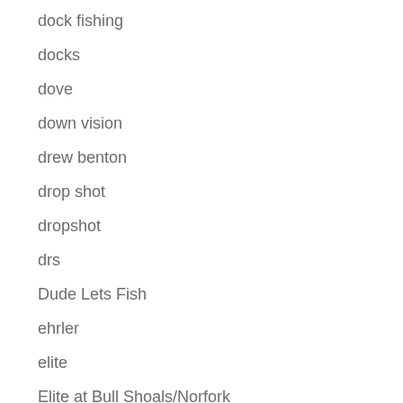dock fishing
docks
dove
down vision
drew benton
drop shot
dropshot
drs
Dude Lets Fish
ehrler
elite
Elite at Bull Shoals/Norfork